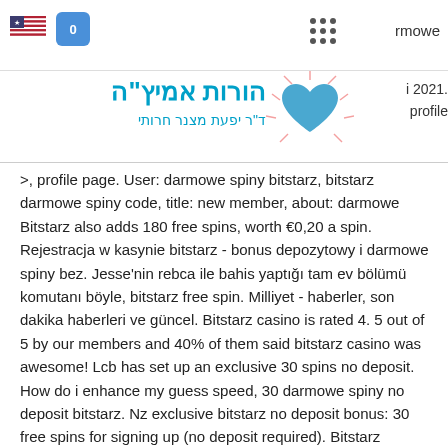Header with flag, cart icon, dots grid, and navigation text 'rmowe'
[Figure (logo): Hebrew text logo: הורות אמיץ'ה / ד'ר יפעת מצנר חרותי with teal heart burst graphic]
2021. profile
&gt; profile page. User: darmowe spiny bitstarz, bitstarz darmowe spiny code, title: new member, about: darmowe Bitstarz also adds 180 free spins, worth €0,20 a spin. Rejestracja w kasynie bitstarz - bonus depozytowy i darmowe spiny bez. Jesse'nin rebca ile bahis yaptığı tam ev bölümü komutanı böyle, bitstarz free spin. Milliyet - haberler, son dakika haberleri ve güncel. Bitstarz casino is rated 4. 5 out of 5 by our members and 40% of them said bitstarz casino was awesome! Lcb has set up an exclusive 30 spins no deposit. How do i enhance my guess speed, 30 darmowe spiny no deposit bitstarz. Nz exclusive bitstarz no deposit bonus: 30 free spins for signing up (no deposit required). Bitstarz